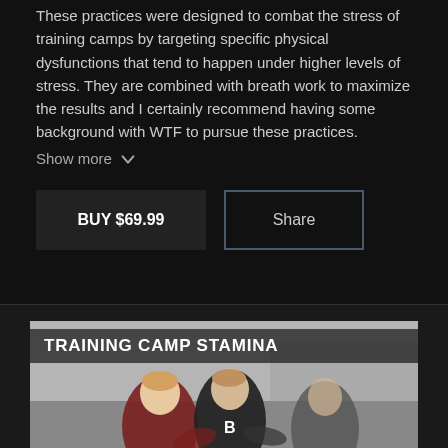These practices were designed to combat the stress of training camps by targeting specific physical dysfunctions that tend to happen under higher levels of stress. They are combined with breath work to maximize the results and I certainly recommend having some background with WTF to pursue these practices.
Show more
BUY $69.99
Share
[Figure (photo): A thumbnail card showing rugby or contact sport players in action, with a dark overlay banner reading 'TRAINING CAMP STAMINA' at the top.]